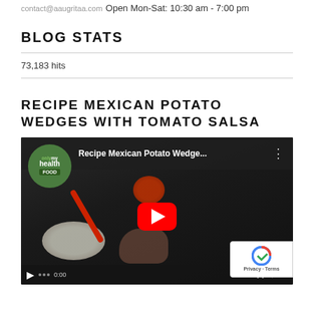contact@aaugritaa.com
Open Mon-Sat: 10:30 am - 7:00 pm
BLOG STATS
73,183 hits
RECIPE MEXICAN POTATO WEDGES WITH TOMATO SALSA
[Figure (screenshot): YouTube video thumbnail for 'Recipe Mexican Potato Wedge...' by onlymyhealth FOOD channel, showing a cooking scene with bowls, a red spoon, and a tomato, with a red play button in the center.]